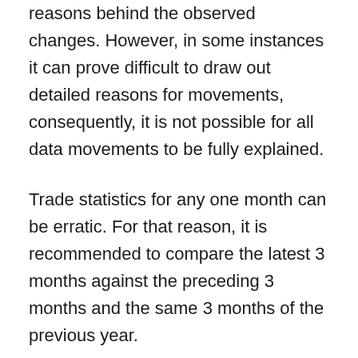reasons behind the observed changes. However, in some instances it can prove difficult to draw out detailed reasons for movements, consequently, it is not possible for all data movements to be fully explained.
Trade statistics for any one month can be erratic. For that reason, it is recommended to compare the latest 3 months against the preceding 3 months and the same 3 months of the previous year.
When examining the trade in goods data, oil and “erratics”, which are high value, low volume products, are removed from the analysis as they are extremely influential on trade in goods as a whole. Therefore we